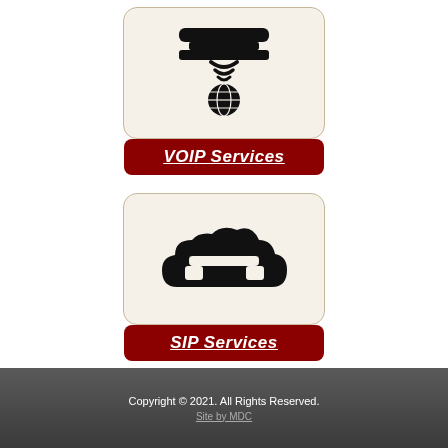[Figure (illustration): VOIP Services icon: telephone handset with signal waves and globe symbol, inside a rounded rectangle with beige background, below a dark red button with italic bold underlined text 'VOIP Services']
[Figure (illustration): SIP Services icon: cloud with telephone handset overlay, inside a rounded rectangle with beige background, below a dark red button with italic bold underlined text 'SIP Services']
Copyright © 2021. All Rights Reserved. Site by MDC